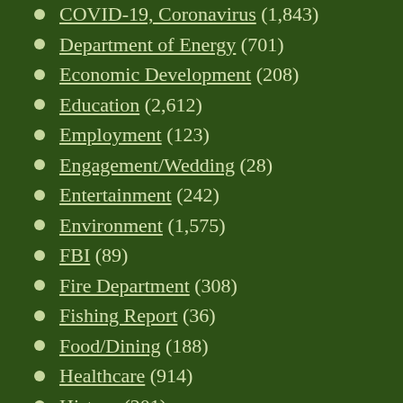COVID-19, Coronavirus (1,843)
Department of Energy (701)
Economic Development (208)
Education (2,612)
Employment (123)
Engagement/Wedding (28)
Entertainment (242)
Environment (1,575)
FBI (89)
Fire Department (308)
Fishing Report (36)
Food/Dining (188)
Healthcare (914)
History (201)
Kiwanis (27)
Laboratory (1,210)
League of Women Voters (78)